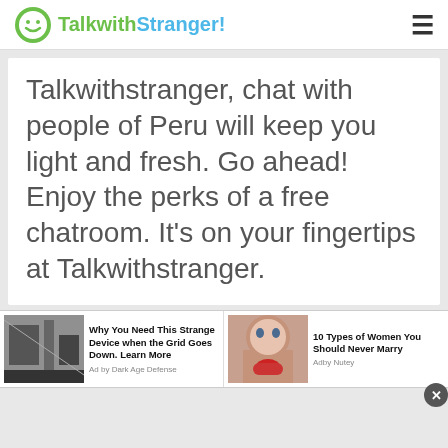TalkwithStranger!
Talkwithstranger, chat with people of Peru will keep you light and fresh. Go ahead! Enjoy the perks of a free chatroom. It's on your fingertips at Talkwithstranger.
[Figure (screenshot): Scroll-to-top button (teal chevron up arrow)]
[Figure (screenshot): Ad: Why You Need This Strange Device when the Grid Goes Down. Learn More - Ad by Dark Age Defense]
[Figure (screenshot): Ad: 10 Types of Women You Should Never Marry - Adby Nutey]